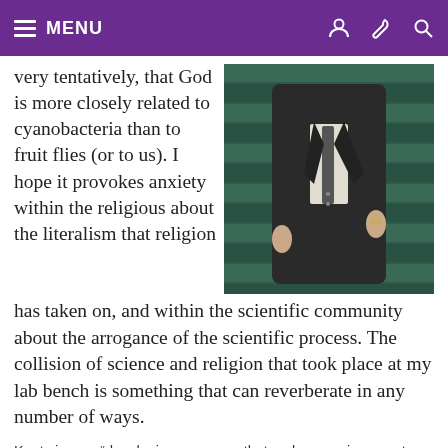MENU
very tentatively, that God is more closely related to cyanobacteria than to fruit flies (or to us). I hope it provokes anxiety within the religious about the literalism that religion has taken on, and within the scientific community about the arrogance of the scientific process. The collision of science and religion that took place at my lab bench is something that can reverberate in any number of ways.
[Figure (photo): A man in a dark suit standing in front of green shutters/doors, shown from chest to knees.]
Keats is now “developing a camera that makes a unique century-long exposure. One hundred of my cameras will be distributed throughout Berlin, to be retrieved in a hundred years. The city will be watched over by those not yet born.” Photo by Elana Dorfman